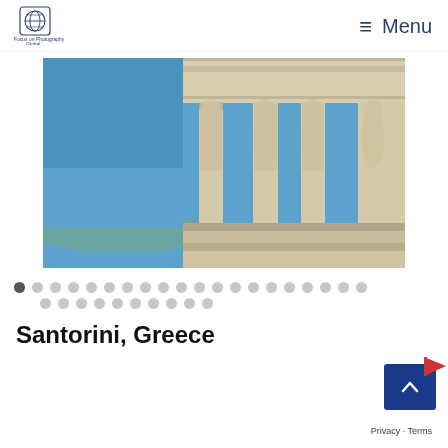[Figure (logo): Focus on Photography Global logo with globe icon and text]
≡ Menu
[Figure (photo): Caryatid porch of the Erechtheion on the Acropolis, Athens, Greece — ancient Greek female statue columns against a blue sky]
[Figure (infographic): Slideshow dot navigation: 20 dots on top row (first dot active/dark), 10 dots on second row (all grey)]
Santorini, Greece